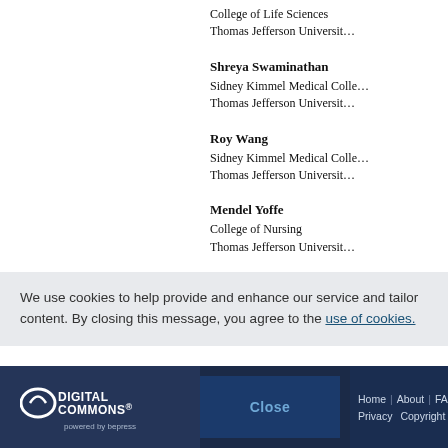College of Life Sciences
Thomas Jefferson University
Shreya Swaminathan
Sidney Kimmel Medical College
Thomas Jefferson University
Roy Wang
Sidney Kimmel Medical College
Thomas Jefferson University
Mendel Yoffe
College of Nursing
Thomas Jefferson University
We use cookies to help provide and enhance our service and tailor content. By closing this message, you agree to the use of cookies.
Close | Home | About | FAQ | Privacy | Copyright